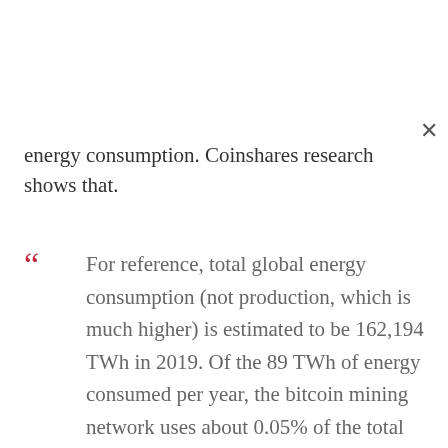energy consumption. Coinshares research shows that.
For reference, total global energy consumption (not production, which is much higher) is estimated to be 162,194 TWh in 2019. Of the 89 TWh of energy consumed per year, the bitcoin mining network uses about 0.05% of the total global energy consumption. In our view, this is a small cost to the global